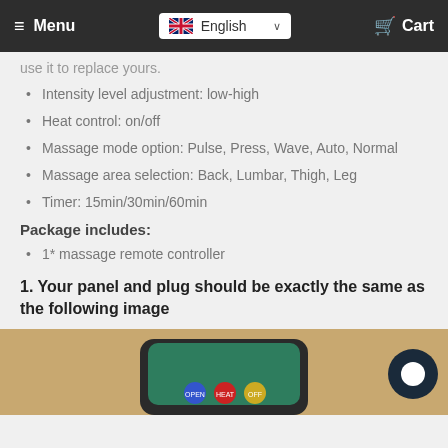Menu | English | Cart
use it to replace yours.
Intensity level adjustment: low-high
Heat control: on/off
Massage mode option: Pulse, Press, Wave, Auto, Normal
Massage area selection: Back, Lumbar, Thigh, Leg
Timer: 15min/30min/60min
Package includes:
1* massage remote controller
1. Your panel and plug should be exactly the same as the following image
[Figure (photo): Photo of massage remote controller device on a burlap/fabric background, showing the device with colorful buttons]